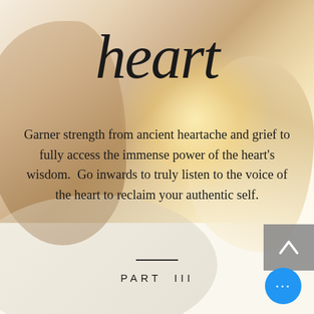[Figure (photo): Background photo of hands with warm golden light, overlaid with text. Decorative book part page with italic title 'heart', descriptive paragraph, divider, and 'PART III' label.]
heart
Garner strength from ancient heartache and grief to fully access the immense power of the heart's wisdom.  Go inwards to truly listen to the voice of the heart to reclaim your authentic self.
PART III